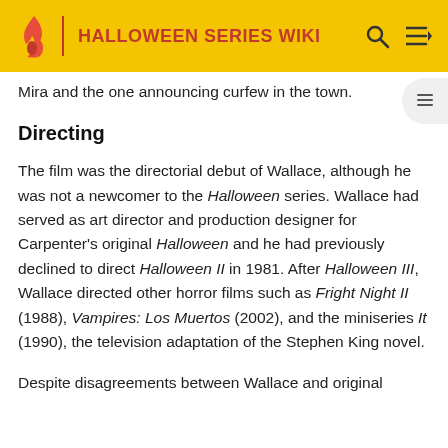HALLOWEEN SERIES WIKI
Mira and the one announcing curfew in the town.
Directing
The film was the directorial debut of Wallace, although he was not a newcomer to the Halloween series. Wallace had served as art director and production designer for Carpenter's original Halloween and he had previously declined to direct Halloween II in 1981. After Halloween III, Wallace directed other horror films such as Fright Night II (1988), Vampires: Los Muertos (2002), and the miniseries It (1990), the television adaptation of the Stephen King novel.
Despite disagreements between Wallace and original